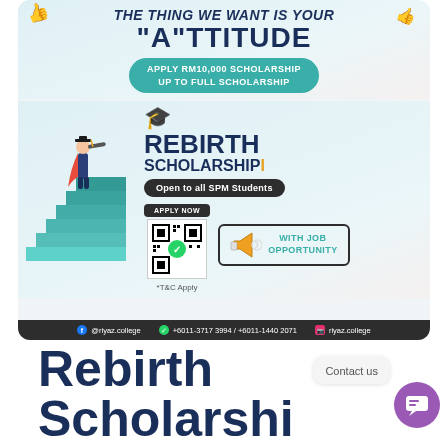[Figure (infographic): Rebirth Scholarship advertisement banner. Shows a superhero figure climbing teal stairs on the left. Main text: THE THING WE WANT IS YOUR "A"TTITUDE. Teal pill: APPLY RM10,000 SCHOLARSHIP / UP TO FULL SCHOLARSHIP. Large text: REBIRTH SCHOLARSHIP. Dark pill: Open to all SPM Students. Apply Now button with QR code. With Job Opportunity box. Footer: Facebook @riyaz.college, WhatsApp +6011-3717 3994 / +6011-1440 2071, Instagram riyaz.college.]
Rebirth
Scholarshi
Contact us